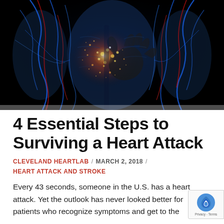[Figure (photo): Medical illustration of a human torso with glowing blue vascular/nervous system and a hand gripping the heart area with bright glowing light particles, set against a black background.]
4 Essential Steps to Surviving a Heart Attack
CLEVELAND HEARTLAB / MARCH 2, 2018 / HEART ATTACK AND STROKE
Every 43 seconds, someone in the U.S. has a heart attack. Yet the outlook has never looked better for patients who recognize symptoms and get to the